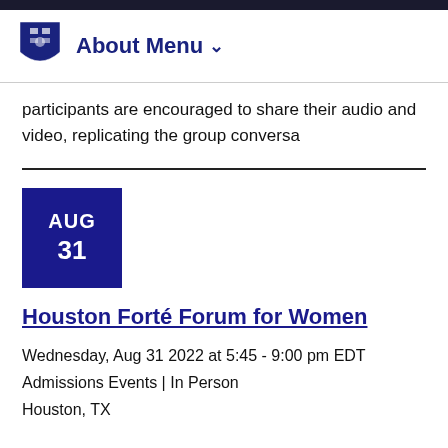About Menu
participants are encouraged to share their audio and video, replicating the group conversa
[Figure (other): Date box showing AUG 31 in dark blue]
Houston Forté Forum for Women
Wednesday, Aug 31 2022 at 5:45 - 9:00 pm EDT
Admissions Events | In Person
Houston, TX